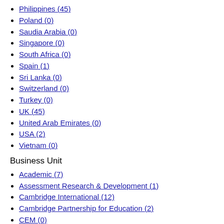Philippines (45)
Poland (0)
Saudia Arabia (0)
Singapore (0)
South Africa (0)
Spain (1)
Sri Lanka (0)
Switzerland (0)
Turkey (0)
UK (45)
United Arab Emirates (0)
USA (2)
Vietnam (0)
Business Unit
Academic (7)
Assessment Research & Development (1)
Cambridge International (12)
Cambridge Partnership for Education (2)
CEM (0)
Chief Executive Office (0)
Education (16)
English (16)
External Communications & Brand (4)